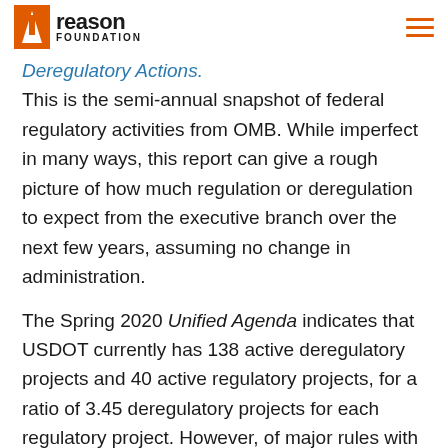Reason Foundation
Deregulatory Actions. This is the semi-annual snapshot of federal regulatory activities from OMB. While imperfect in many ways, this report can give a rough picture of how much regulation or deregulation to expect from the executive branch over the next few years, assuming no change in administration.
The Spring 2020 Unified Agenda indicates that USDOT currently has 138 active deregulatory projects and 40 active regulatory projects, for a ratio of 3.45 deregulatory projects for each regulatory project. However, of major rules with economic costs greater than $100 million per year, the latest Unified Agenda indicates USDOT has three